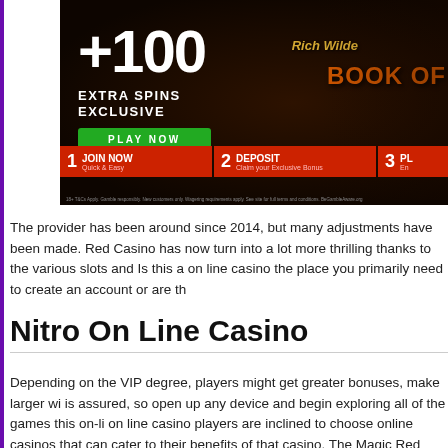[Figure (advertisement): Casino advertisement banner showing '+100 EXTRA SPINS EXCLUSIVE' with a PLAY NOW button in green, steps: 1 JOIN NOW (Quick & Easy), 2 DEPOSIT (Claim your Exclusive Bonus), 3 P[lay]. Book of Dead game character (Rich Wilde) visible on the right. Dark background with disclaimer text at bottom.]
The provider has been around since 2014, but many adjustments have been made. Red Casino has now turn into a lot more thrilling thanks to the various slots and... Is this a on line casino the place you primarily need to create an account or are th...
Nitro On Line Casino
Depending on the VIP degree, players might get greater bonuses, make larger wi... is assured, so open up any device and begin exploring all of the games this on-li... on line casino players are inclined to choose online casinos that can cater to their... benefits of that casino. The Magic Red online platform has over 400 si...